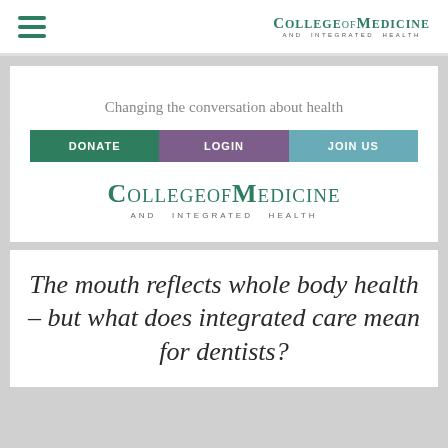[Figure (logo): College of Medicine and Integrated Health logo in top navigation bar with hamburger menu icon]
Changing the conversation about health
DONATE | LOGIN | JOIN US
[Figure (logo): College of Medicine and Integrated Health large logo]
The mouth reflects whole body health – but what does integrated care mean for dentists?